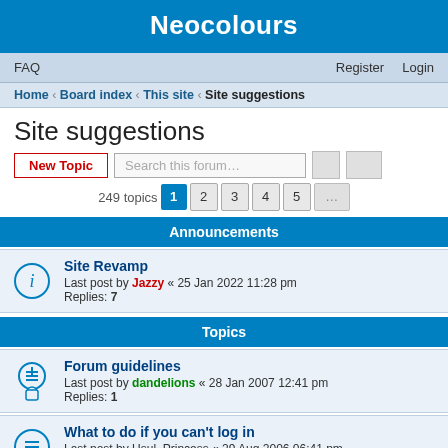Neocolours
FAQ   Register   Login
Home › Board index › This site › Site suggestions
Site suggestions
New Topic   Search this forum…
249 topics  1 2 3 4 5 …
Announcements
Site Revamp
Last post by Jazzy « 25 Jan 2022 11:28 pm
Replies: 7
Topics
Forum guidelines
Last post by dandelions « 28 Jan 2007 12:41 pm
Replies: 1
What to do if you can't log in
Last post by Usul_Princess « 29 Aug 2006 06:41 pm
Replies: 2
Hello!